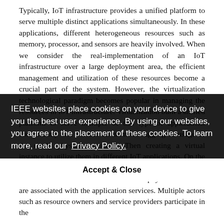Typically, IoT infrastructure provides a unified platform to serve multiple distinct applications simultaneously. In these applications, different heterogeneous resources such as memory, processor, and sensors are heavily involved. When we consider the real-implementation of an IoT infrastructure over a large deployment area, the efficient management and utilization of these resources become a crucial part of the system. However, the virtualization technological paradigm becomes popular in managing the resources in IoT infrastructure. Virtualization built a unified platform to serve multiple of this type of applications concurrently and ensures an immense aggregate usage of the costly physical resources. Then creating a virtual instance to utilize them in different IoT applications. On the other hand, users are abstracted from the process of virtualization and are unaware of which physical resources are associated with the application services. Multiple actors such as resource owners and service providers participate in the
IEEE websites place cookies on your device to give you the best user experience. By using our websites, you agree to the placement of these cookies. To learn more, read our Privacy Policy.
Accept & Close